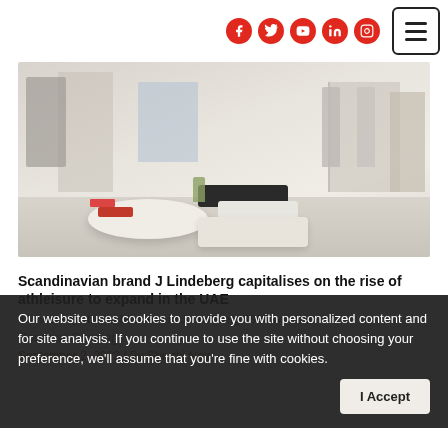Social media icons and hamburger menu
[Figure (photo): Interior of a J Lindeberg retail store with white display tables, folded clothing, and clothing racks in a minimalist Scandinavian style setting.]
Scandinavian brand J Lindeberg capitalises on the rise of athleisure to expand in the UAE
J Lindeberg started business in J Lindeberg 1996 with the aim...
Continue Reading
Our website uses cookies to provide you with personalized content and for site analysis. If you continue to use the site without choosing your preference, we'll assume that you're fine with cookies.
September 2, 2022 | By Shruthi Nair